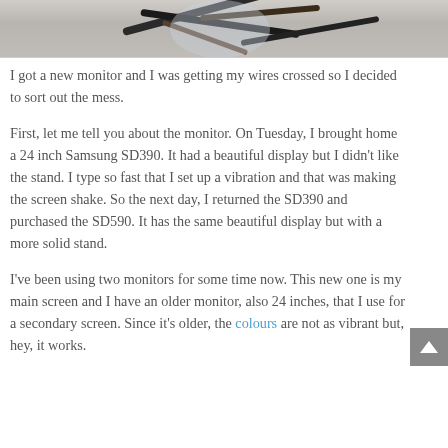[Figure (photo): Top portion of a photo showing tangled cables/wires on a grey carpet surface]
I got a new monitor and I was getting my wires crossed so I decided to sort out the mess.
First, let me tell you about the monitor. On Tuesday, I brought home a 24 inch Samsung SD390. It had a beautiful display but I didn't like the stand. I type so fast that I set up a vibration and that was making the screen shake. So the next day, I returned the SD390 and purchased the SD590. It has the same beautiful display but with a more solid stand.
I've been using two monitors for some time now. This new one is my main screen and I have an older monitor, also 24 inches, that I use for a secondary screen. Since it's older, the colours are not as vibrant but, hey, it works.